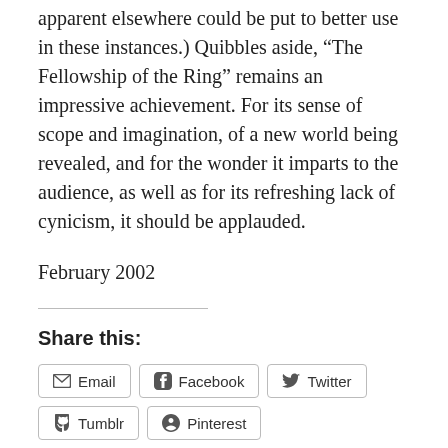apparent elsewhere could be put to better use in these instances.) Quibbles aside, “The Fellowship of the Ring” remains an impressive achievement. For its sense of scope and imagination, of a new world being revealed, and for the wonder it imparts to the audience, as well as for its refreshing lack of cynicism, it should be applauded.
February 2002
Share this:
Email | Facebook | Twitter | Tumblr | Pinterest | LinkedIn
Loading...